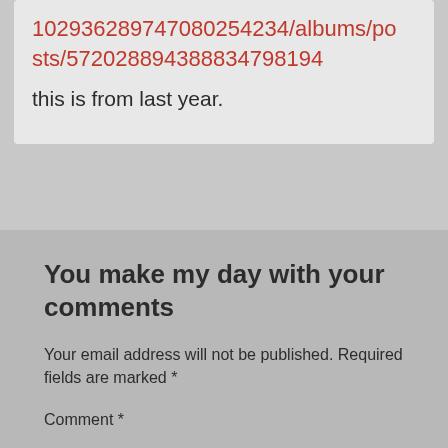102936289747080254234/albums/posts/572028894388834798194
this is from last year.
You make my day with your comments
Your email address will not be published. Required fields are marked *
Comment *